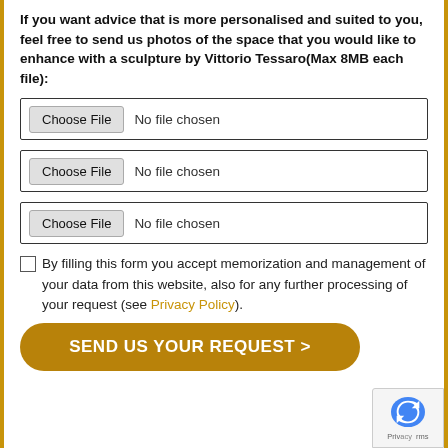If you want advice that is more personalised and suited to you, feel free to send us photos of the space that you would like to enhance with a sculpture by Vittorio Tessaro(Max 8MB each file):
[Figure (screenshot): File input field 1 with 'Choose File' button and 'No file chosen' text]
[Figure (screenshot): File input field 2 with 'Choose File' button and 'No file chosen' text]
[Figure (screenshot): File input field 3 with 'Choose File' button and 'No file chosen' text]
By filling this form you accept memorization and management of your data from this website, also for any further processing of your request (see Privacy Policy).
SEND US YOUR REQUEST >